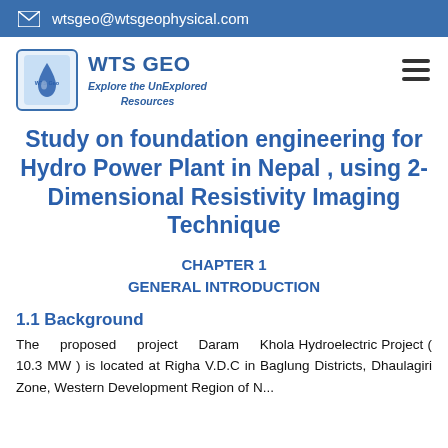wtsgeo@wtsgeophysical.com
[Figure (logo): WTS GEO logo with water drop icon, blue background square. Company name WTS GEO and tagline Explore the UnExplored Resources.]
Study on foundation engineering for Hydro Power Plant in Nepal , using 2- Dimensional Resistivity Imaging Technique
CHAPTER 1
GENERAL INTRODUCTION
1.1 Background
The proposed project Daram Khola Hydroelectric Project ( 10.3 MW ) is located at Righa V.D.C in Baglung Districts, Dhaulagiri Zone, Western Development Region of N...